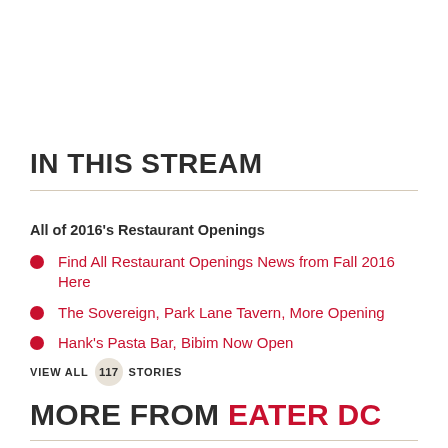IN THIS STREAM
All of 2016's Restaurant Openings
Find All Restaurant Openings News from Fall 2016 Here
The Sovereign, Park Lane Tavern, More Opening
Hank's Pasta Bar, Bibim Now Open
VIEW ALL 117 STORIES
MORE FROM EATER DC